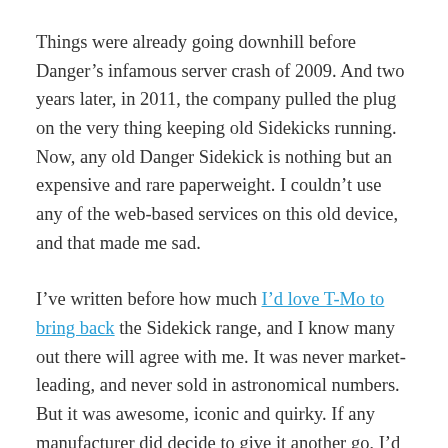Things were already going downhill before Danger's infamous server crash of 2009. And two years later, in 2011, the company pulled the plug on the very thing keeping old Sidekicks running. Now, any old Danger Sidekick is nothing but an expensive and rare paperweight. I couldn't use any of the web-based services on this old device, and that made me sad.
I've written before how much I'd love T-Mo to bring back the Sidekick range, and I know many out there will agree with me. It was never market-leading, and never sold in astronomical numbers. But it was awesome, iconic and quirky. If any manufacturer did decide to give it another go, I'd buy one in a heartbeat. As long as it had the 180-degree mechanism and the physical keyboard. Anything without those two key ingredients isn't a true Sidekick.
What do you guys think? If you could pick a manufacturer – in a